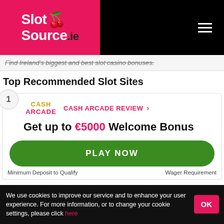[Figure (logo): SlotSource.ie logo with cherry graphic on pink/red background, with hamburger menu icon on black background]
Find Ireland's biggest and best slot casino bonuses.
Top Recommended Slot Sites
1 CASH ARCADE REVIEW › Get up to €5000 Welcome Bonus
PLAY NOW
Minimum Deposit to Qualify
Wager Requirement
We use cookies to improve our service and to enhance your user experience. For more information, or to change your cookie settings, please click here